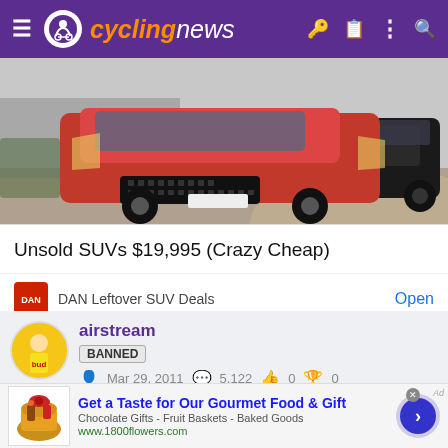cyclingnews
[Figure (photo): Red SUV (Lincoln or similar) parked in a lot, with a black SUV behind it, shown as an advertisement for unsold SUVs]
Unsold SUVs $19,995 (Crazy Cheap)
DAN Leftover SUV Deals   Open
airstream
BANNED
Mar 29, 2011   5,122   0   0
[Figure (photo): Advertisement for 1800flowers.com: Get a Taste for Our Gourmet Food & Gift - Chocolate Gifts - Fruit Baskets - Baked Goods]
Get a Taste for Our Gourmet Food & Gift
Chocolate Gifts - Fruit Baskets - Baked Goods
www.1800flowers.com